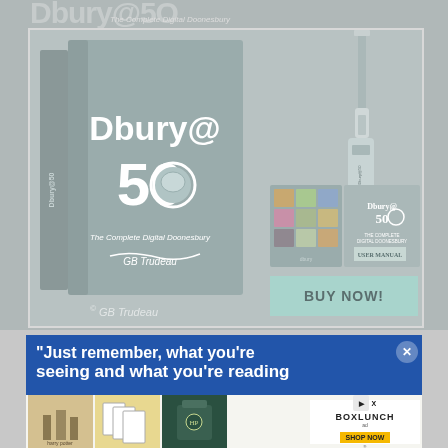[Figure (advertisement): Dbury@50 – The Complete Digital Doonesbury advertisement showing a large book, USB lanyard, booklets/manuals, and a BUY NOW button. Signed by GB Trudeau.]
[Figure (advertisement): Bottom advertisement showing quote 'Just remember, what you're seeing and what you're reading...' with a BoxLunch ad strip featuring Harry Potter merchandise images and a SHOP NOW button.]